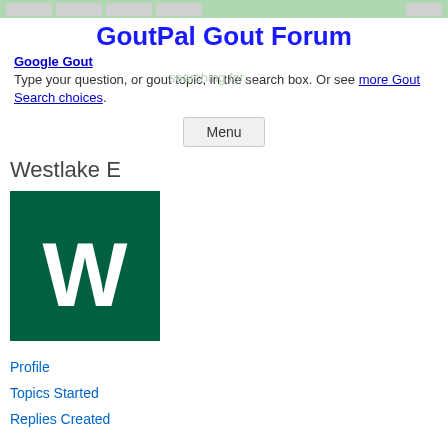GoutPal Gout Forum
GoutPal Gout Forum
Google Gout
Type your question, or gout topic, in the search box. Or see more Gout Search choices.
Menu
Westlake E
[Figure (illustration): Dark green square avatar with white letter W in the center]
Profile
Topics Started
Replies Created